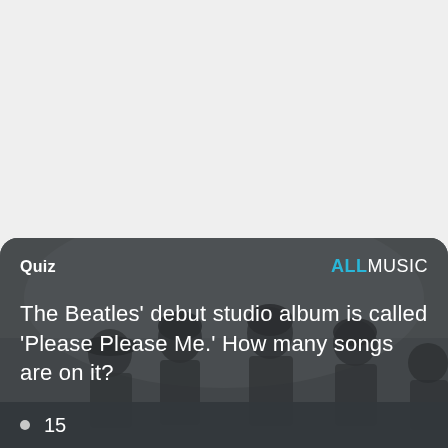[Figure (photo): Screenshot of an AllMusic quiz card showing The Beatles in black and white photo background, with a quiz question about their debut album 'Please Please Me']
Quiz
ALLMUSIC
The Beatles' debut studio album is called 'Please Please Me.' How many songs are on it?
15